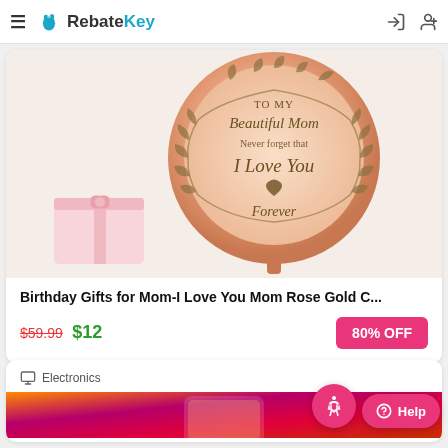RebateKey
[Figure (photo): Rose gold compact mirror engraved with 'To My Beautiful Mom, Never forget that I Love You Forever' with decorative leaf wreath design, shown open with a small pink gift box beside it.]
Birthday Gifts for Mom-I Love You Mom Rose Gold C...
$59.99 $12
80% OFF
Electronics
[Figure (photo): Smartphone with colorful gradient wallpaper shown at bottom of page.]